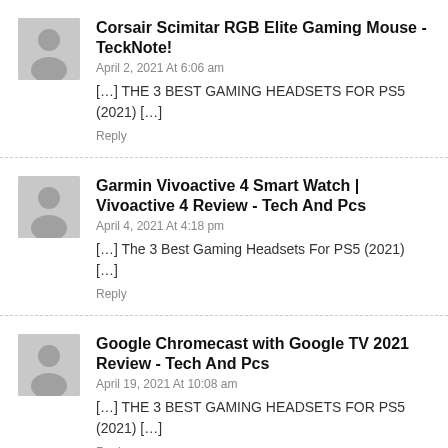Corsair Scimitar RGB Elite Gaming Mouse - TeckNote!
April 2, 2021 At 6:06 am
[...] THE 3 BEST GAMING HEADSETS FOR PS5 (2021) [...]
Reply
Garmin Vivoactive 4 Smart Watch | Vivoactive 4 Review - Tech And Pcs
April 4, 2021 At 4:18 pm
[...] The 3 Best Gaming Headsets For PS5 (2021) [...]
Reply
Google Chromecast with Google TV 2021 Review - Tech And Pcs
April 19, 2021 At 10:08 am
[...] THE 3 BEST GAMING HEADSETS FOR PS5 (2021) [...]
Reply